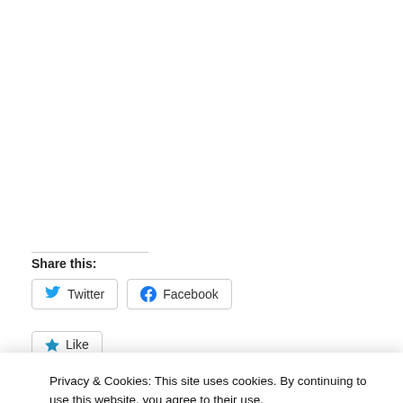Share this:
Twitter  Facebook
★ Like
Privacy & Cookies: This site uses cookies. By continuing to use this website, you agree to their use. To find out more, including how to control cookies, see here: Cookie Policy
Close and accept
HIPROCTHELA